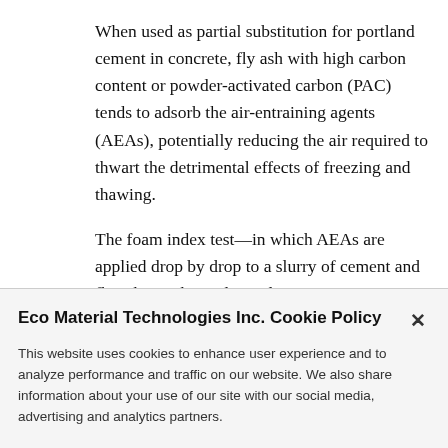When used as partial substitution for portland cement in concrete, fly ash with high carbon content or powder-activated carbon (PAC) tends to adsorb the air-entraining agents (AEAs), potentially reducing the air required to thwart the detrimental effects of freezing and thawing.
The foam index test—in which AEAs are applied drop by drop to a slurry of cement and fly ash—is the traditional
Eco Material Technologies Inc. Cookie Policy
This website uses cookies to enhance user experience and to analyze performance and traffic on our website. We also share information about your use of our site with our social media, advertising and analytics partners.